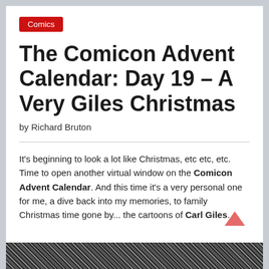Comics
The Comicon Advent Calendar: Day 19 – A Very Giles Christmas
by Richard Bruton
It's beginning to look a lot like Christmas, etc etc, etc. Time to open another virtual window on the Comicon Advent Calendar. And this time it's a very personal one for me, a dive back into my memories, to family Christmas time gone by... the cartoons of Carl Giles.
[Figure (photo): Bottom strip showing a black and white illustrated/photo scene, partially visible]